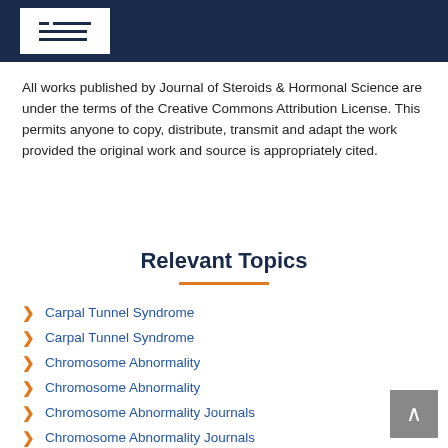Journal of Steroids & Hormonal Science header navigation
All works published by Journal of Steroids & Hormonal Science are under the terms of the Creative Commons Attribution License. This permits anyone to copy, distribute, transmit and adapt the work provided the original work and source is appropriately cited.
Relevant Topics
Carpal Tunnel Syndrome
Carpal Tunnel Syndrome
Chromosome Abnormality
Chromosome Abnormality
Chromosome Abnormality Journals
Chromosome Abnormality Journals
Chromosome Open Access Articles